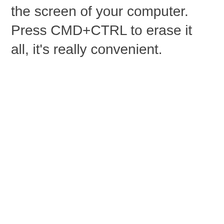the screen of your computer. Press CMD+CTRL to erase it all, it's really convenient.